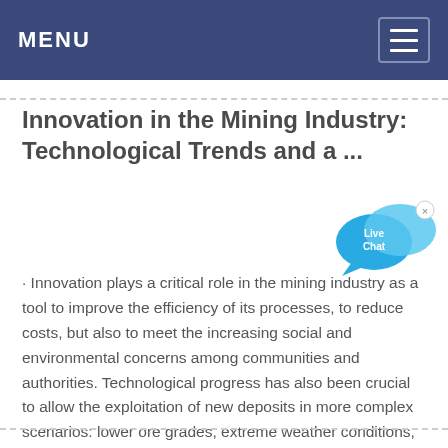MENU
Innovation in the Mining Industry: Technological Trends and a ...
[Figure (illustration): Live Chat bubble icon in blue with text 'Live Chat' and an 'x' close button]
· Innovation plays a critical role in the mining industry as a tool to improve the efficiency of its processes, to reduce costs, but also to meet the increasing social and environmental concerns among communities and authorities. Technological progress has also been crucial to allow the exploitation of new deposits in more complex scenarios: lower ore grades, extreme weather conditions, deeper ...